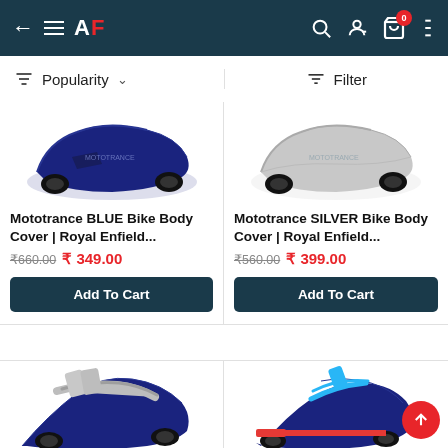[Figure (screenshot): Mobile app navigation bar with back arrow, hamburger menu, AF logo, search icon, user icon, and cart icon with badge showing 0]
[Figure (screenshot): Sort toolbar showing sort icon, Popularity dropdown, and Filter option]
[Figure (photo): Mototrance BLUE Bike Body Cover for Royal Enfield - blue colored motorcycle cover]
Mototrance BLUE Bike Body Cover | Royal Enfield...
₹660.00  ₹ 349.00
[Figure (photo): Mototrance SILVER Bike Body Cover for Royal Enfield - silver colored motorcycle cover]
Mototrance SILVER Bike Body Cover | Royal Enfield...
₹560.00  ₹ 399.00
[Figure (photo): Navy blue and grey two-tone bike body cover partially shown]
[Figure (photo): Navy blue and sky blue bike body cover on motorcycle, partially shown]